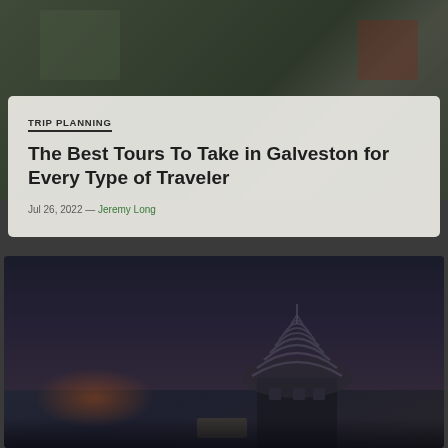[Figure (photo): Top portion of a travel article page showing a green outdoor scene, partially obscured and darkened]
TRIP PLANNING
The Best Tours To Take in Galveston for Every Type of Traveler
Jul 26, 2022 — Jeremy Long
[Figure (photo): Dark atmospheric photo showing a domed or striped architectural structure in Galveston at dusk/night]